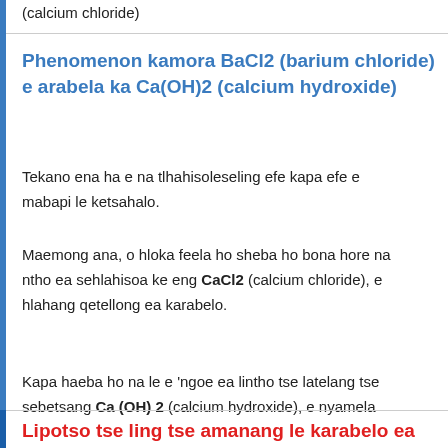(calcium chloride)
Phenomenon kamora BaCl2 (barium chloride) e arabela ka Ca(OH)2 (calcium hydroxide)
Tekano ena ha e na tlhahisoleseling efe kapa efe e mabapi le ketsahalo.
Maemong ana, o hloka feela ho sheba ho bona hore na ntho ea sehlahisoa ke eng CaCl2 (calcium chloride), e hlahang qetellong ea karabelo.
Kapa haeba ho na le e 'ngoe ea lintho tse latelang tse sebetsang Ca (OH) 2 (calcium hydroxide), e nyamela
Lipotso tse ling tse amanang le karabelo ea